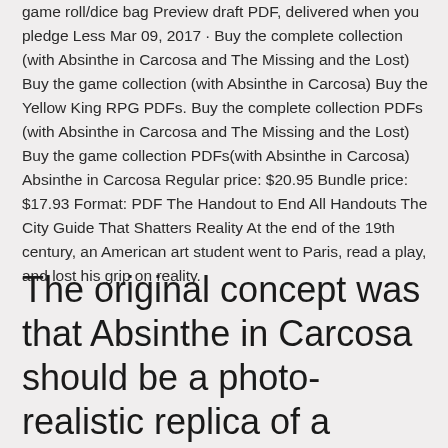game roll/dice bag Preview draft PDF, delivered when you pledge Less Mar 09, 2017 · Buy the complete collection (with Absinthe in Carcosa and The Missing and the Lost) Buy the game collection (with Absinthe in Carcosa) Buy the Yellow King RPG PDFs. Buy the complete collection PDFs (with Absinthe in Carcosa and The Missing and the Lost) Buy the game collection PDFs(with Absinthe in Carcosa) Absinthe in Carcosa Regular price: $20.95 Bundle price: $17.93 Format: PDF The Handout to End All Handouts The City Guide That Shatters Reality At the end of the 19th century, an American art student went to Paris, read a play, and lost his grip on reality.
The original concept was that Absinthe in Carcosa should be a photo-realistic replica of a notebook